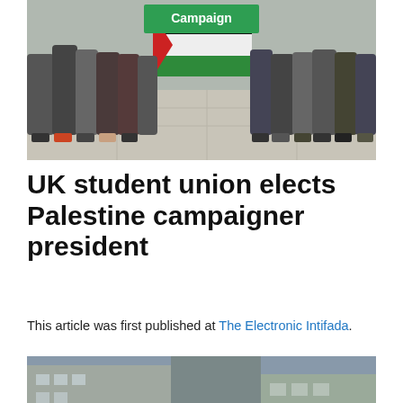[Figure (photo): Group of people holding a green Campaign banner and Palestinian flag]
UK student union elects Palestine campaigner president
This article was first published at The Electronic Intifada.
[Figure (photo): Group of people with raised fists holding a Palestine banner with Palestinian flags on either side]